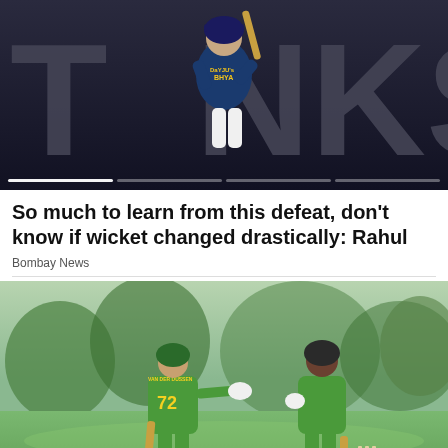[Figure (photo): Cricket player in dark Indian jersey raising bat, text 'TANKS' visible with 'DaYJU's BHYA' branding in dark background]
So much to learn from this defeat, don't know if wicket changed drastically: Rahul
Bombay News
[Figure (photo): Two South African cricket players in green jerseys on field, one wearing #72 'VAN DER DUSSEN' jersey, with 'betway' advertising boards visible at bottom]